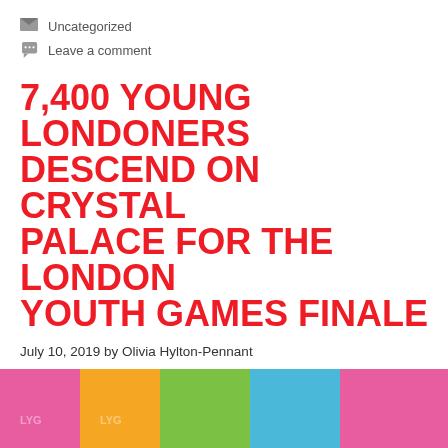Uncategorized
Leave a comment
7,400 YOUNG LONDONERS DESCEND ON CRYSTAL PALACE FOR THE LONDON YOUTH GAMES FINALE
July 10, 2019 by Olivia Hylton-Pennant
[Figure (photo): Group of young athletes and adults celebrating on a stage, arms raised, wearing medals and blue team shirts, with colorful banners (pink, yellow, green, blue) in the background at the London Youth Games Finale at Crystal Palace.]